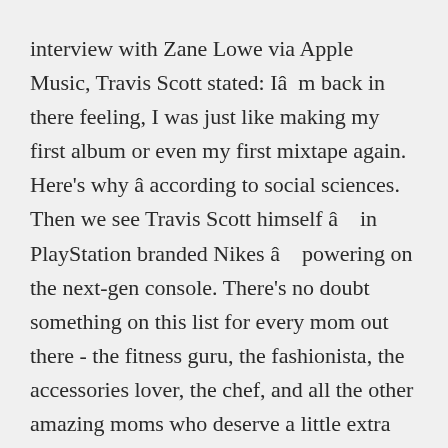interview with Zane Lowe via Apple Music, Travis Scott stated: Iâm back in there feeling, I was just like making my first album or even my first mixtape again. Here's why â according to social sciences. Then we see Travis Scott himself â in PlayStation branded Nikes â powering on the next-gen console. There's no doubt something on this list for every mom out there - the fitness guru, the fashionista, the accessories lover, the chef, and all the other amazing moms who deserve a little extra love this Christmas. Once the coronavirus spread across the United States and people were forced to adapt to this new reality of living through a pandemic, music